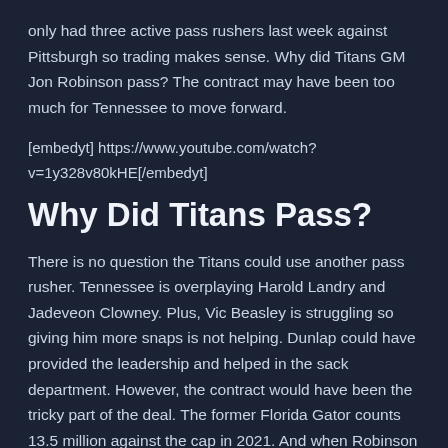only had three active pass rushers last week against Pittsburgh so trading makes sense. Why did Titans GM Jon Robinson pass? The contract may have been too much for Tennessee to move forward.
[embedyt] https://www.youtube.com/watch?v=1y328v80kHE[/embedyt]
Why Did Titans Pass?
There is no question the Titans could use another pass rusher. Tennessee is overplaying Harold Landry and Jadeveon Clowney. Plus, Vic Beasley is struggling so giving him more snaps is not helping. Dunlap could have provided the leadership and helped in the sack department. However, the contract would have been the tricky part of the deal. The former Florida Gator counts 13.5 million against the cap in 2021. And when Robinson can get something under a deal...